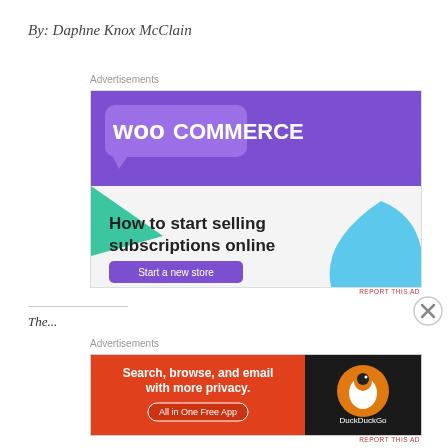By: Daphne Knox McClain
Advertisements
[Figure (screenshot): WooCommerce advertisement: purple header with WooCommerce logo and speech bubble icon, teal triangle shape on left, blue curved shape on right, text 'How to start selling subscriptions online', purple button 'Start a new store']
REPORT THIS AD
Advertisements
[Figure (screenshot): DuckDuckGo advertisement: orange background with text 'Search, browse, and email with more privacy.' and 'All in One Free App', black panel on right with DuckDuckGo logo]
REPORT THIS AD